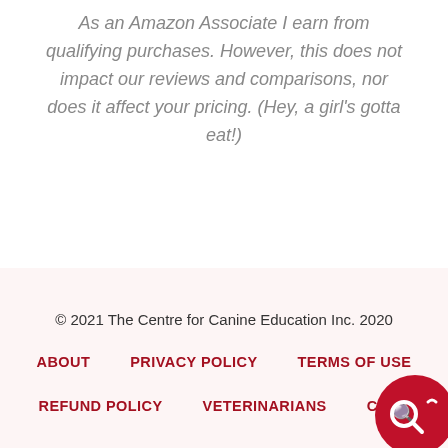As an Amazon Associate I earn from qualifying purchases. However, this does not impact our reviews and comparisons, nor does it affect your pricing. (Hey, a girl's gotta eat!)
© 2021 The Centre for Canine Education Inc. 2020
ABOUT   PRIVACY POLICY   TERMS OF USE
REFUND POLICY   VETERINARIANS   CONTACT